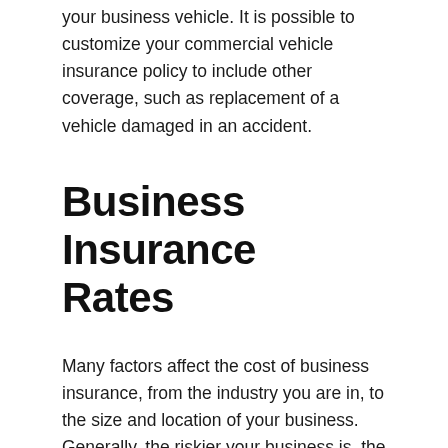your business vehicle. It is possible to customize your commercial vehicle insurance policy to include other coverage, such as replacement of a vehicle damaged in an accident.
Business Insurance Rates
Many factors affect the cost of business insurance, from the industry you are in, to the size and location of your business. Generally, the riskier your business is, the higher the rate you will pay for insurance coverage. Our experienced agency can help you find the coverage you need to fully protect your business at the best available